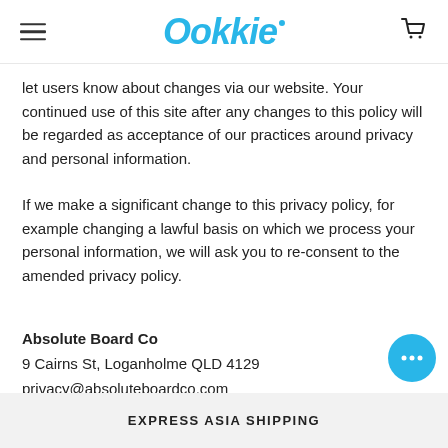Ookkie
let users know about changes via our website. Your continued use of this site after any changes to this policy will be regarded as acceptance of our practices around privacy and personal information.
If we make a significant change to this privacy policy, for example changing a lawful basis on which we process your personal information, we will ask you to re-consent to the amended privacy policy.
Absolute Board Co
9 Cairns St, Loganholme QLD 4129
privacy@absoluteboardco.com
This policy is effective as of 25th August, 2021
EXPRESS ASIA SHIPPING